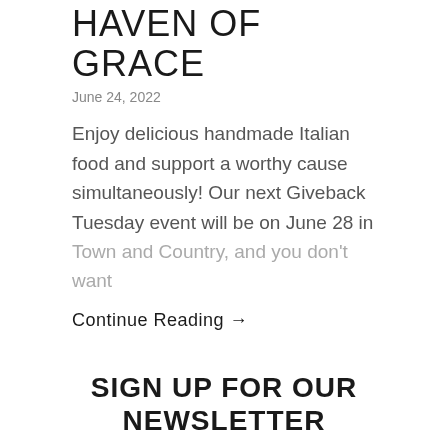HAVEN OF GRACE
June 24, 2022
Enjoy delicious handmade Italian food and support a worthy cause simultaneously! Our next Giveback Tuesday event will be on June 28 in Town and Country, and you don't want
Continue Reading →
SIGN UP FOR OUR NEWSLETTER